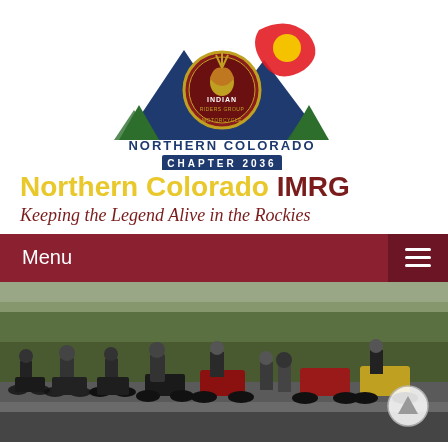[Figure (logo): Northern Colorado Indian Motorcycle Riders Group Chapter 2036 logo with mountains, pine trees, Colorado flag colors (red, blue, yellow), and circular Indian Motorcycle emblem in center. Text: NORTHERN COLORADO, CHAPTER 2036.]
Northern Colorado IMRG
Keeping the Legend Alive in the Rockies
Menu
[Figure (photo): Group of motorcyclists with Indian motorcycles lined up on a road or parking lot, trees in background, overcast day.]